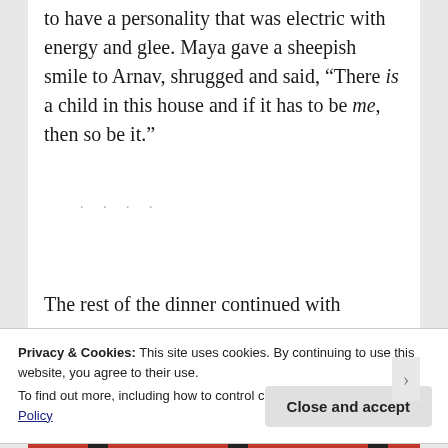to have a personality that was electric with energy and glee. Maya gave a sheepish smile to Arnav, shrugged and said, “There is a child in this house and if it has to be me, then so be it.”
The rest of the dinner continued with
Privacy & Cookies: This site uses cookies. By continuing to use this website, you agree to their use.
To find out more, including how to control cookies, see here: Cookie Policy